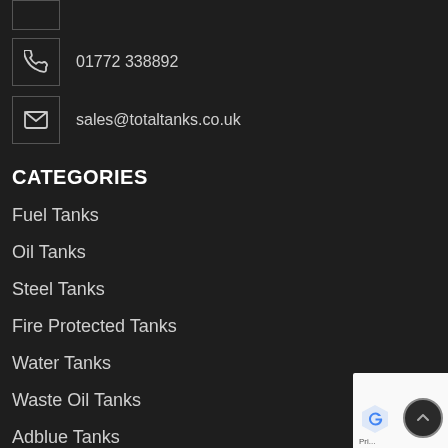01772 338892
sales@totaltanks.co.uk
CATEGORIES
Fuel Tanks
Oil Tanks
Steel Tanks
Fire Protected Tanks
Water Tanks
Waste Oil Tanks
Adblue Tanks